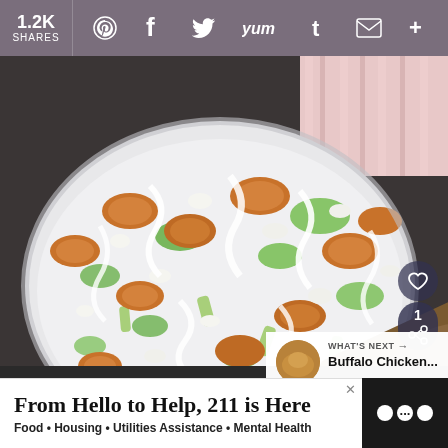1.2K SHARES
[Figure (photo): Buffalo chicken salad in a white bowl with creamy dressing, celery, carrots, and blue cheese crumbles, with wooden spoons in background]
WHAT'S NEXT → Buffalo Chicken...
From Hello to Help, 211 is Here
Food • Housing • Utilities Assistance • Mental Health